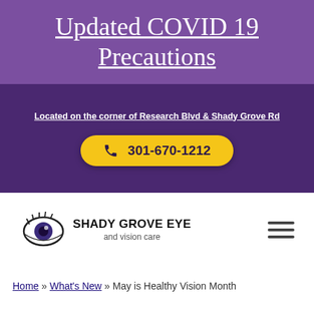Updated COVID 19 Precautions
Located on the corner of Research Blvd & Shady Grove Rd
301-670-1212
[Figure (logo): Shady Grove Eye and Vision Care logo with stylized eye graphic]
Home » What's New » May is Healthy Vision Month